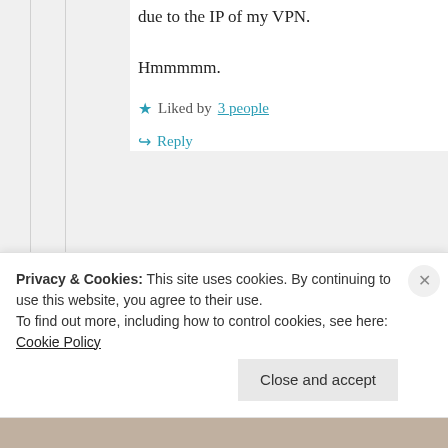due to the IP of my VPN. Hmmmmm.
★ Liked by 3 people
↪ Reply
piper567
09/03/2021 @ 20:07 at 20:07
Privacy & Cookies: This site uses cookies. By continuing to use this website, you agree to their use. To find out more, including how to control cookies, see here: Cookie Policy
Close and accept